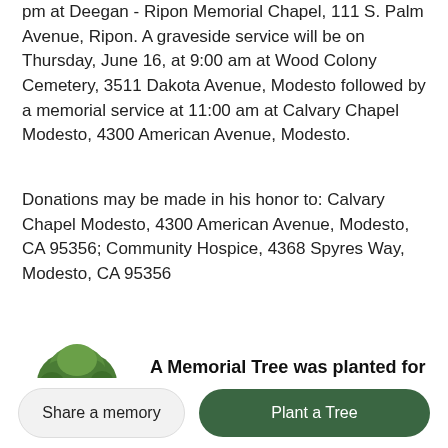pm at Deegan - Ripon Memorial Chapel, 111 S. Palm Avenue, Ripon. A graveside service will be on Thursday, June 16, at 9:00 am at Wood Colony Cemetery, 3511 Dakota Avenue, Modesto followed by a memorial service at 11:00 am at Calvary Chapel Modesto, 4300 American Avenue, Modesto.
Donations may be made in his honor to: Calvary Chapel Modesto, 4300 American Avenue, Modesto, CA 95356; Community Hospice, 4368 Spyres Way, Modesto, CA 95356
[Figure (illustration): Green tree illustration representing a memorial tree]
A Memorial Tree was planted for Merlin